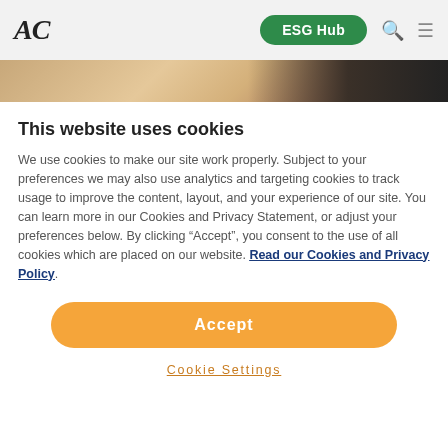AC | ESG Hub
[Figure (photo): Partial view of a food/cooking image strip behind cookie consent modal]
This website uses cookies
We use cookies to make our site work properly. Subject to your preferences we may also use analytics and targeting cookies to track usage to improve the content, layout, and your experience of our site. You can learn more in our Cookies and Privacy Statement, or adjust your preferences below. By clicking “Accept”, you consent to the use of all cookies which are placed on our website. Read our Cookies and Privacy Policy.
Accept
Cookie Settings